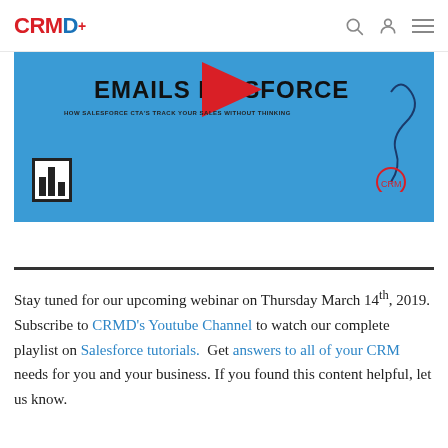CRMD+ [logo with search, user, menu icons]
[Figure (illustration): Blue banner image showing text 'EMAILS IN SALESFORCE' with a red play button shape, a bar chart icon on the left, and a subtitle text below the main heading.]
Stay tuned for our upcoming webinar on Thursday March 14th, 2019. Subscribe to CRMD's Youtube Channel to watch our complete playlist on Salesforce tutorials.  Get answers to all of your CRM needs for you and your business. If you found this content helpful, let us know.